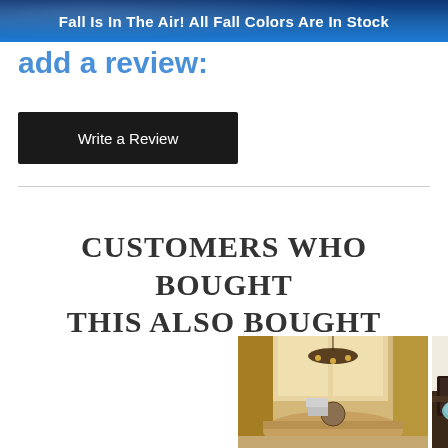Fall Is In The Air! All Fall Colors Are In Stock
add a review:
Write a Review
CUSTOMERS WHO BOUGHT THIS ALSO BOUGHT
[Figure (photo): Interior room photo showing a dining area with golden curtains, chandelier, and a table with decorative items]
[Figure (photo): Partial view of another room interior with dark furniture]